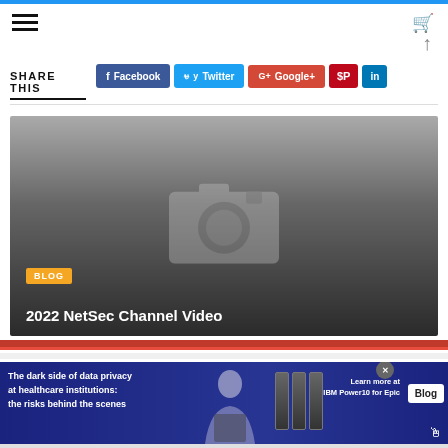[Figure (screenshot): Website navigation top bar with hamburger menu icon on left and cart/up-arrow icons on right, with blue top border]
SHARE THIS
[Figure (screenshot): Social share buttons: Facebook (blue), Twitter (cyan), Google+ (red), Pinterest (dark red icon), LinkedIn (blue icon)]
[Figure (screenshot): Blog card with dark gradient background showing placeholder camera icon, BLOG tag in orange, and title '2022 NetSec Channel Video' in white]
2022 NetSec Channel Video
[Figure (screenshot): Advertisement banner: 'The dark side of data privacy at healthcare institutions: the risks behind the scenes' with IBM Power10 for Epic branding and Blog button]